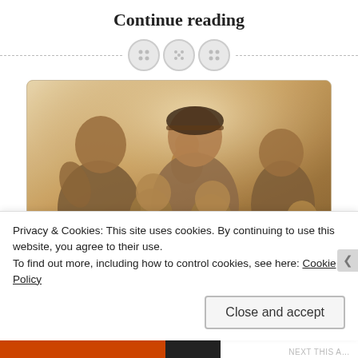Continue reading
[Figure (illustration): Decorative divider with three circular button-like icons on a dashed horizontal line]
[Figure (photo): Sepia-toned family photo showing a woman and several children posing together outdoors]
Privacy & Cookies: This site uses cookies. By continuing to use this website, you agree to their use.
To find out more, including how to control cookies, see here: Cookie Policy
Close and accept